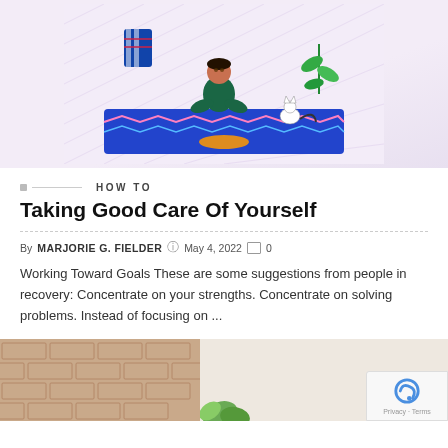[Figure (illustration): Colorful illustration of a person sitting cross-legged on a decorative blue rug/mat with a cat nearby, on a light floral background]
HOW TO
Taking Good Care Of Yourself
By MARJORIE G. FIELDER  May 4, 2022  0
Working Toward Goals These are some suggestions from people in recovery: Concentrate on your strengths. Concentrate on solving problems. Instead of focusing on ...
[Figure (photo): Bottom portion of a photo showing a light interior space with a brick wall visible on the left side and some greenery]